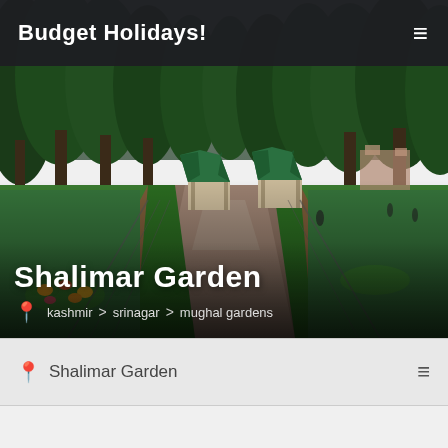Budget Holidays!
[Figure (photo): Aerial view of Shalimar Garden in Srinagar, Kashmir, showing lush green lawns, tall trees, gazebos with green pyramid roofs, a central stone pathway lined with water channel, flowers in garden beds, and overcast sky after rain.]
Shalimar Garden
kashmir > srinagar > mughal gardens
Shalimar Garden